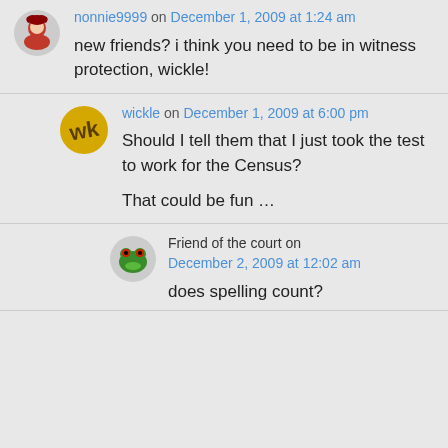nonnie9999 on December 1, 2009 at 1:24 am
new friends? i think you need to be in witness protection, wickle!
wickle on December 1, 2009 at 6:00 pm
Should I tell them that I just took the test to work for the Census?

That could be fun …
Friend of the court on December 2, 2009 at 12:02 am
does spelling count?